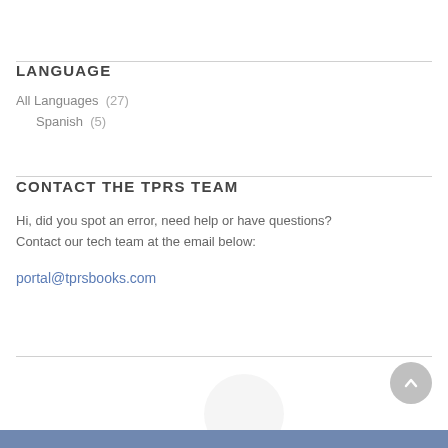LANGUAGE
All Languages  (27)
Spanish  (5)
CONTACT THE TPRS TEAM
Hi, did you spot an error, need help or have questions? Contact our tech team at the email below:
portal@tprsbooks.com